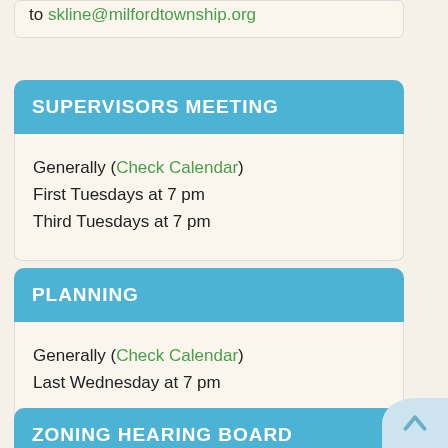to skline@milfordtownship.org
SUPERVISORS MEETING
Generally (Check Calendar)
First Tuesdays at 7 pm
Third Tuesdays at 7 pm
PLANNING
Generally (Check Calendar)
Last Wednesday at 7 pm
ZONING HEARING BOARD